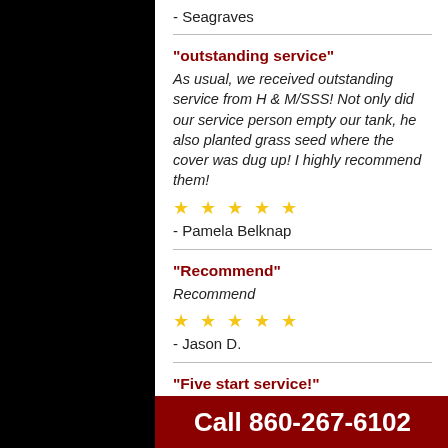- Seagraves
"outstanding service"
As usual, we received outstanding service from H & M/SSS! Not only did our service person empty our tank, he also planted grass seed where the cover was dug up! I highly recommend them!
★ ★ ★ ★ ★
- Pamela Belknap
"Recommend"
Recommend
★ ★ ★ ★ ★
- Jason D.
"Five start service!"
Five start service! We have lived in our house for 23 years and always used the same sanitation service from our town. We decided to change to Suburban Sanitation on a whim and it
Call 860-267-6102